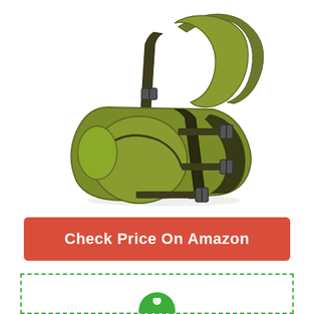[Figure (photo): Olive/army green sling backpack with black straps, buckles, and mesh panels. The bag has a large circular pocket on the front and multiple adjustment straps.]
Check Price On Amazon
[Figure (other): Dashed green border box with a green circle/button partially visible at the bottom edge]